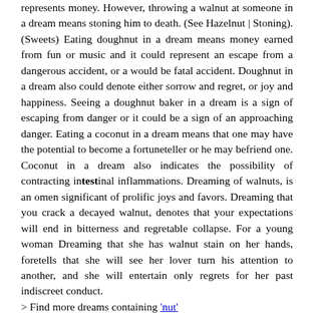represents money. However, throwing a walnut at someone in a dream means stoning him to death. (See Hazelnut | Stoning). (Sweets) Eating doughnut in a dream means money earned from fun or music and it could represent an escape from a dangerous accident, or a would be fatal accident. Doughnut in a dream also could denote either sorrow and regret, or joy and happiness. Seeing a doughnut baker in a dream is a sign of escaping from danger or it could be a sign of an approaching danger. Eating a coconut in a dream means that one may have the potential to become a fortuneteller or he may befriend one. Coconut in a dream also indicates the possibility of contracting intestinal inflammations. Dreaming of walnuts, is an omen significant of prolific joys and favors. Dreaming that you crack a decayed walnut, denotes that your expectations will end in bitterness and regretable collapse. For a young woman Dreaming that she has walnut stain on her hands, foretells that she will see her lover turn his attention to another, and she will entertain only regrets for her past indiscreet conduct.
> Find more dreams containing 'nut'
Graduation
To dream that you are at a graduation, represents your achievements and a successful transition to a higher level of ability. You are ready to move forward with your accomplishments and do more important things. To dream that